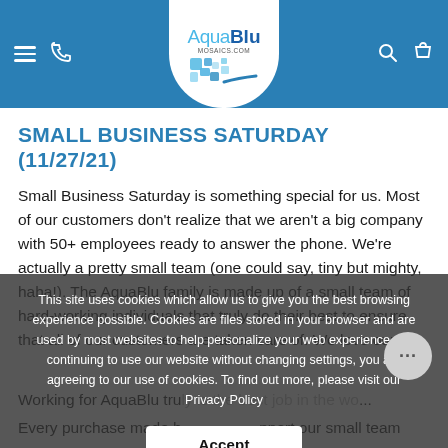[Figure (logo): AquaBlu Mosaics.com logo in website header with blue background, hamburger menu, phone icon, search icon, and shopping bag icon]
SMALL BUSINESS SATURDAY (11/27/21)
Small Business Saturday is something special for us. Most of our customers don't realize that we aren't a big company with 50+ employees ready to answer the phone. We're actually a pretty small team (one could say, tiny but mighty, haha!). The AquaBlu family is made up of a small team of hard-working individuals that truly do their best to ensure that all of our customers are taken care of. We love our j...
Working for AquaBlu truly is the best job in the wo...
Every purchase made h... support our small team
This site uses cookies which allow us to give you the best browsing experience possible. Cookies are files stored in your browser and are used by most websites to help personalize your web experience. By continuing to use our website without changing settings, you are agreeing to our use of cookies. To find out more, please visit our Privacy Policy
Accept